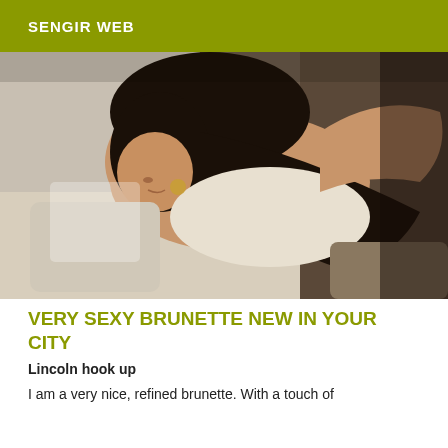SENGIR WEB
[Figure (photo): A brunette woman in white lingerie lying on a white couch, looking down and smiling, with dark long hair, gold hoop earrings, in a posed photograph.]
VERY SEXY BRUNETTE NEW IN YOUR CITY
Lincoln hook up
I am a very nice, refined brunette. With a touch of